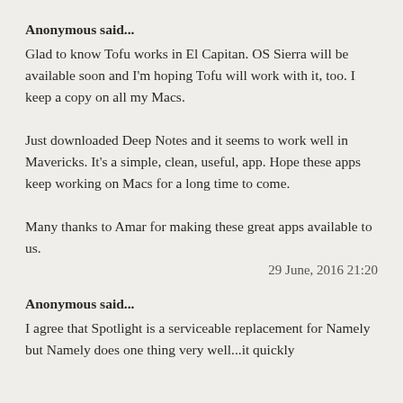Anonymous said...
Glad to know Tofu works in El Capitan. OS Sierra will be available soon and I'm hoping Tofu will work with it, too. I keep a copy on all my Macs.

Just downloaded Deep Notes and it seems to work well in Mavericks. It's a simple, clean, useful, app. Hope these apps keep working on Macs for a long time to come.

Many thanks to Amar for making these great apps available to us.
29 June, 2016 21:20
Anonymous said...
I agree that Spotlight is a serviceable replacement for Namely but Namely does one thing very well...it quickly